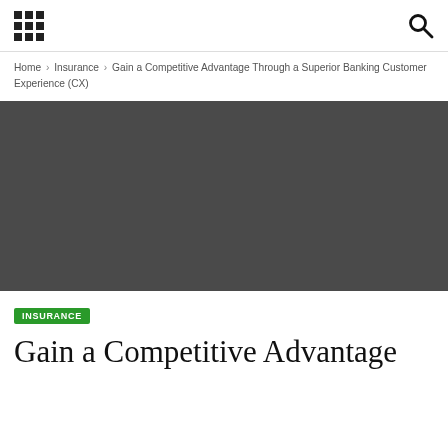[grid icon] [search icon]
Home › Insurance › Gain a Competitive Advantage Through a Superior Banking Customer Experience (CX)
[Figure (photo): Dark grey hero banner image, solid dark background]
INSURANCE
Gain a Competitive Advantage